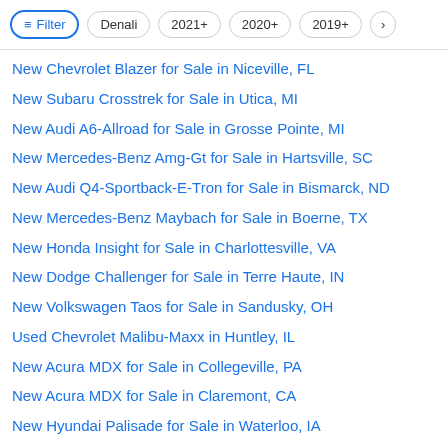Filter | Denali | 2021+ | 2020+ | 2019+ | >
New Chevrolet Blazer for Sale in Niceville, FL
New Subaru Crosstrek for Sale in Utica, MI
New Audi A6-Allroad for Sale in Grosse Pointe, MI
New Mercedes-Benz Amg-Gt for Sale in Hartsville, SC
New Audi Q4-Sportback-E-Tron for Sale in Bismarck, ND
New Mercedes-Benz Maybach for Sale in Boerne, TX
New Honda Insight for Sale in Charlottesville, VA
New Dodge Challenger for Sale in Terre Haute, IN
New Volkswagen Taos for Sale in Sandusky, OH
Used Chevrolet Malibu-Maxx in Huntley, IL
New Acura MDX for Sale in Collegeville, PA
New Acura MDX for Sale in Claremont, CA
New Hyundai Palisade for Sale in Waterloo, IA
New Cadillac Escalade-Esv for Sale in Waycross, GA